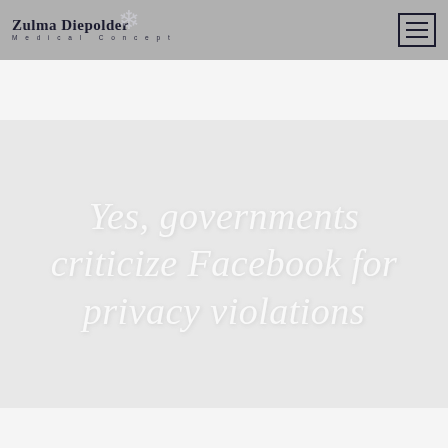[Figure (logo): Zulma Diepolder Medical Concept logo with decorative floral element, on gray header bar]
Yes, governments criticize Facebook for privacy violations
0 | Published by at 02/08/2014